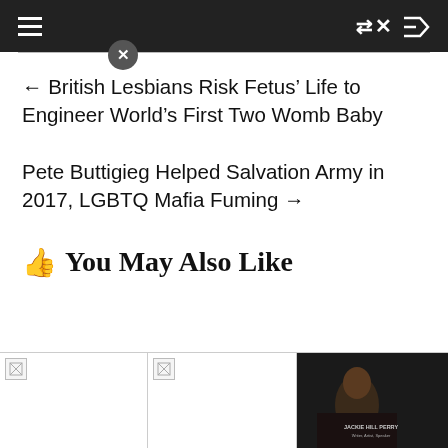Navigation bar with hamburger menu and shuffle icon
← British Lesbians Risk Fetus’ Life to Engineer World’s First Two Womb Baby
Pete Buttigieg Helped Salvation Army in 2017, LGBTQ Mafia Fuming →
👍 You May Also Like
[Figure (photo): Three thumbnail images in a row at the bottom of the page. First two have broken image icons. Third shows a dark-skinned woman with dreadlocks speaking, with text overlay reading JACKIE HILL PERRY Writer, Artist, Speaker.]